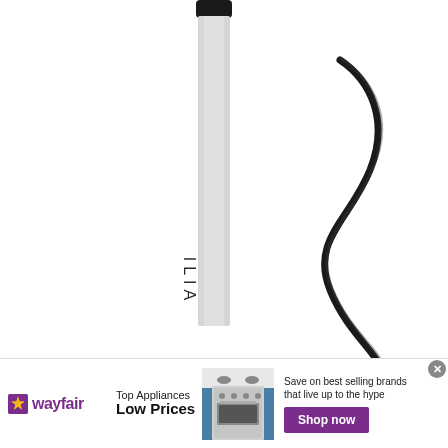[Figure (photo): Product photo of an ILIA beauty liquid eyeliner pen (white/grey barrel with black cap) shown vertically with a wavy black liner stroke swooshing to the right on a white background.]
[Figure (photo): Wayfair advertisement banner showing the Wayfair logo (purple star + wayfair wordmark), text 'Top Appliances Low Prices', an image of a kitchen range/stove, text 'Save on best selling brands that live up to the hype', and a purple 'Shop now' button.]